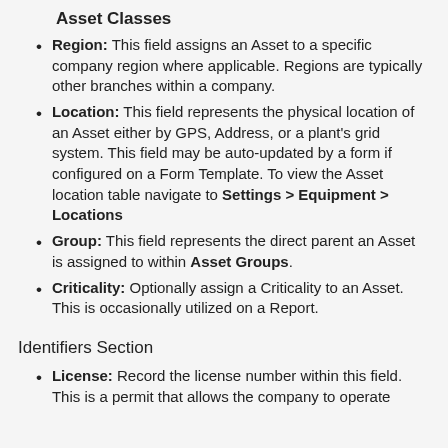Asset Classes
Region: This field assigns an Asset to a specific company region where applicable. Regions are typically other branches within a company.
Location: This field represents the physical location of an Asset either by GPS, Address, or a plant's grid system. This field may be auto-updated by a form if configured on a Form Template. To view the Asset location table navigate to Settings > Equipment > Locations
Group: This field represents the direct parent an Asset is assigned to within Asset Groups.
Criticality: Optionally assign a Criticality to an Asset. This is occasionally utilized on a Report.
Identifiers Section
License: Record the license number within this field. This is a permit that allows the company to operate